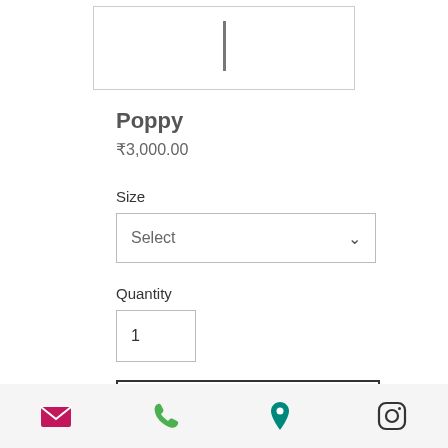[Figure (photo): Partial product image showing a thin vertical element on white background with border]
Poppy
₹3,000.00
Size
Select
Quantity
1
Add to Cart
[Figure (illustration): Footer navigation bar with email icon (pink), phone icon (green), location pin icon (green/teal), and Instagram icon (black outline)]